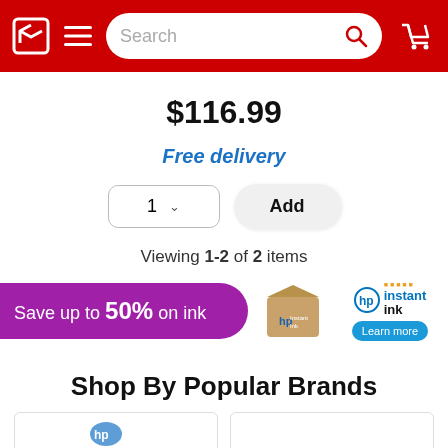Navigation header with logo, menu, search bar, and cart
$116.99
Free delivery
1  Add
Viewing 1-2 of 2 items
[Figure (infographic): Purple banner ad: Save up to 50% on ink, with HP Instant Ink box image and HP Instant Ink logo with Learn more button]
Shop By Popular Brands
[Figure (other): Two brand logo boxes partially visible at bottom of page]